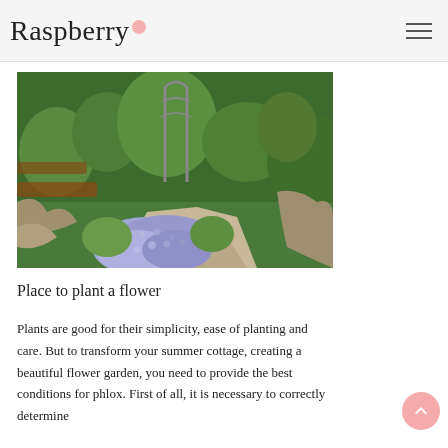Raspberry
[Figure (photo): A lush garden with stone pathways, an ornamental metal arbor, green plants, and a cluster of light purple/blue phlox flowers in the foreground.]
Place to plant a flower
Plants are good for their simplicity, ease of planting and care. But to transform your summer cottage, creating a beautiful flower garden, you need to provide the best conditions for phlox. First of all, it is necessary to correctly determine